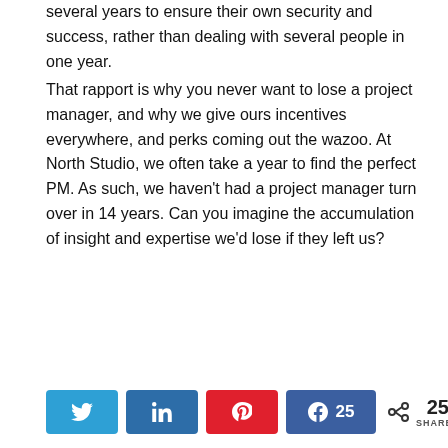several years to ensure their own security and success, rather than dealing with several people in one year.
That rapport is why you never want to lose a project manager, and why we give ours incentives everywhere, and perks coming out the wazoo. At North Studio, we often take a year to find the perfect PM. As such, we haven't had a project manager turn over in 14 years. Can you imagine the accumulation of insight and expertise we'd lose if they left us?
[Figure (other): Social share bar with Twitter, LinkedIn, Pinterest, Facebook (25 shares) buttons and a share count showing 25 SHARES]